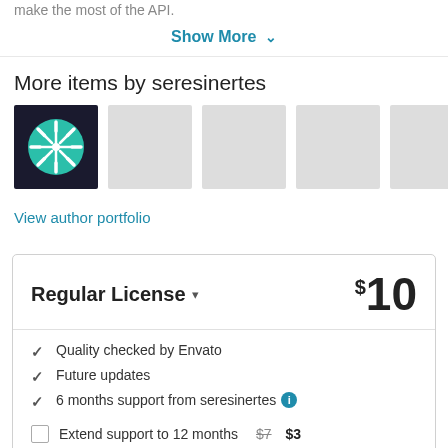make the most of the API.
Show More ▾
More items by seresinertes
[Figure (illustration): Row of 5 thumbnail images. First shows a dark navy background with a teal/green ship wheel icon. The other four are light grey placeholder boxes.]
View author portfolio
| Regular License ▾ | $10 |
| --- | --- |
| ✓ Quality checked by Envato |  |
| ✓ Future updates |  |
| ✓ 6 months support from seresinertes ℹ |  |
| ☐ Extend support to 12 months  $7  $3 |  |